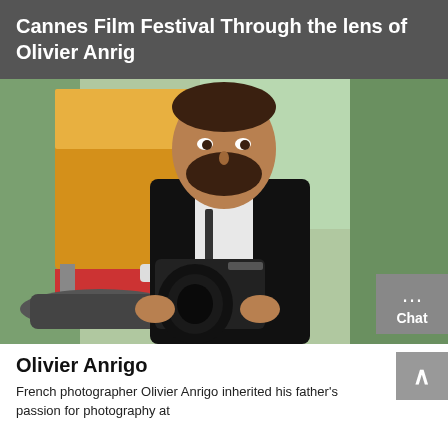Cannes Film Festival Through the lens of Olivier Anrig
[Figure (photo): Portrait of photographer Olivier Anrigo dressed in a black tuxedo with bow tie, holding a Lumix camera, standing outdoors in front of a colorful film festival backdrop with palm trees and signage.]
Olivier Anrigo
French photographer Olivier Anrigo inherited his father's passion for photography at